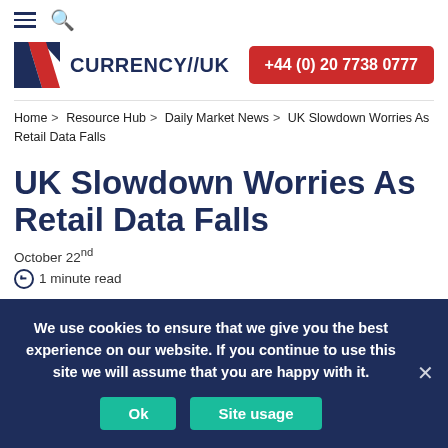≡ 🔍
[Figure (logo): Currency//UK logo with red/blue flag icon and dark navy text]
+44 (0) 20 7738 0777
Home > Resource Hub > Daily Market News > UK Slowdown Worries As Retail Data Falls
UK Slowdown Worries As Retail Data Falls
October 22nd
1 minute read
We use cookies to ensure that we give you the best experience on our website. If you continue to use this site we will assume that you are happy with it.
Ok   Site usage